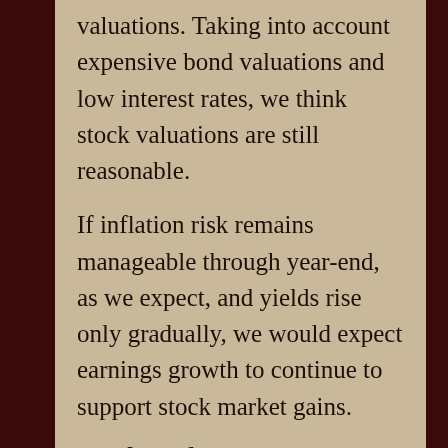valuations. Taking into account expensive bond valuations and low interest rates, we think stock valuations are still reasonable.
If inflation risk remains manageable through year-end, as we expect, and yields rise only gradually, we would expect earnings growth to continue to support stock market gains.
Bonds: Safety Features
Interest rates moved off their